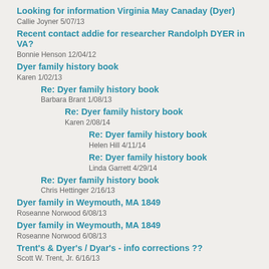Looking for information Virginia May Canaday (Dyer)
Callie Joyner 5/07/13
Recent contact addie for researcher Randolph DYER in VA?
Bonnie Henson 12/04/12
Dyer family history book
Karen 1/02/13
Re: Dyer family history book
Barbara Brant 1/08/13
Re: Dyer family history book
Karen 2/08/14
Re: Dyer family history book
Helen Hill 4/11/14
Re: Dyer family history book
Linda Garrett 4/29/14
Re: Dyer family history book
Chris Hettinger 2/16/13
Dyer family in Weymouth, MA 1849
Roseanne Norwood 6/08/13
Dyer family in Weymouth, MA 1849
Roseanne Norwood 6/08/13
Trent's & Dyer's / Dyar's - info corrections ??
Scott W. Trent, Jr. 6/16/13